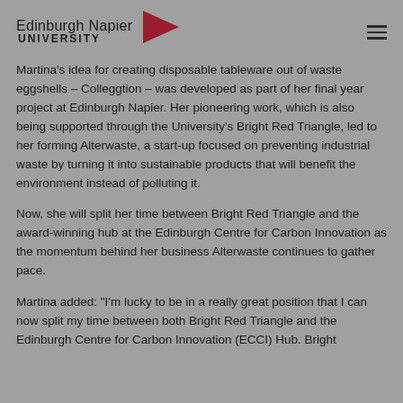Edinburgh Napier UNIVERSITY
Martina’s idea for creating disposable tableware out of waste eggshells – Colleggtion – was developed as part of her final year project at Edinburgh Napier. Her pioneering work, which is also being supported through the University’s Bright Red Triangle, led to her forming Alterwaste, a start-up focused on preventing industrial waste by turning it into sustainable products that will benefit the environment instead of polluting it.
Now, she will split her time between Bright Red Triangle and the award-winning hub at the Edinburgh Centre for Carbon Innovation as the momentum behind her business Alterwaste continues to gather pace.
Martina added: “I’m lucky to be in a really great position that I can now split my time between both Bright Red Triangle and the Edinburgh Centre for Carbon Innovation (ECCI) Hub. Bright